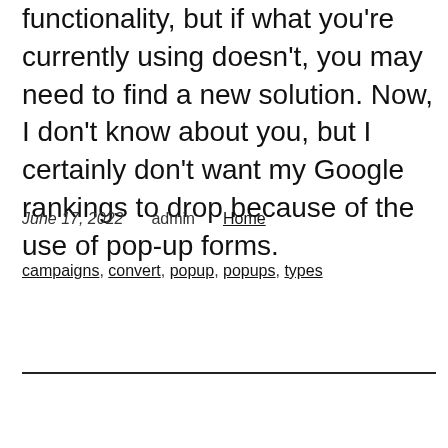functionality, but if what you're currently using doesn't, you may need to find a new solution. Now, I don't know about you, but I certainly don't want my Google rankings to drop because of the use of pop-up forms.
June 17, 2022   admin   Home
campaigns, convert, popup, popups, types